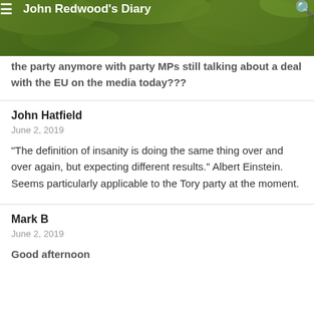John Redwood's Diary
the party anymore with party MPs still talking about a deal with the EU on the media today???
John Hatfield
June 2, 2019
“The definition of insanity is doing the same thing over and over again, but expecting different results.” Albert Einstein. Seems particularly applicable to the Tory party at the moment.
Mark B
June 2, 2019

Good afternoon